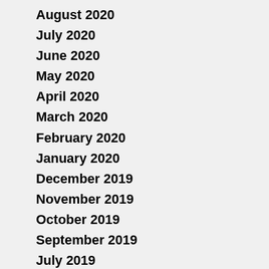August 2020
July 2020
June 2020
May 2020
April 2020
March 2020
February 2020
January 2020
December 2019
November 2019
October 2019
September 2019
July 2019
June 2019
May 2019
April 2019